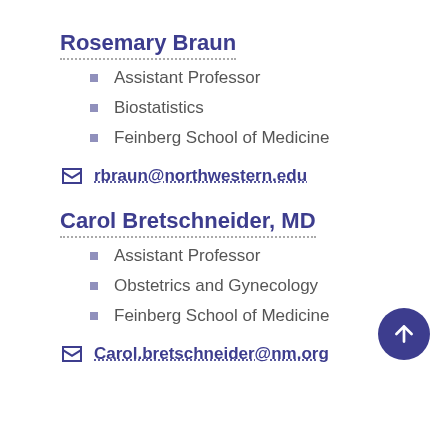Rosemary Braun
Assistant Professor
Biostatistics
Feinberg School of Medicine
rbraun@northwestern.edu
Carol Bretschneider, MD
Assistant Professor
Obstetrics and Gynecology
Feinberg School of Medicine
Carol.bretschneider@nm.org